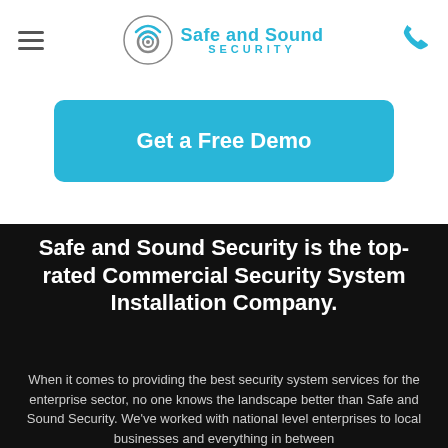Safe and Sound Security
[Figure (logo): Safe and Sound Security logo with circular camera/wifi icon in grey and cyan, company name in cyan text]
Get a Free Demo
Safe and Sound Security is the top-rated Commercial Security System Installation Company.
When it comes to providing the best security system services for the enterprise sector, no one knows the landscape better than Safe and Sound Security. We've worked with national level enterprises to local businesses and everything in between